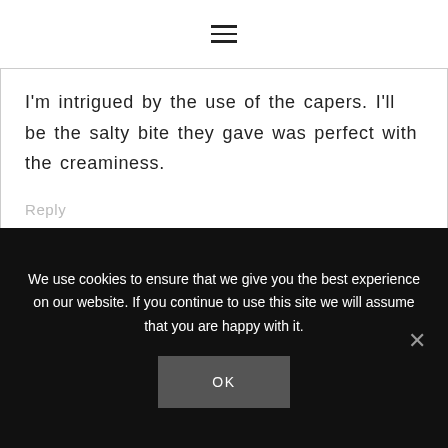☰
I'm intrigued by the use of the capers. I'll be the salty bite they gave was perfect with the creaminess.
Reply
We use cookies to ensure that we give you the best experience on our website. If you continue to use this site we will assume that you are happy with it.
OK